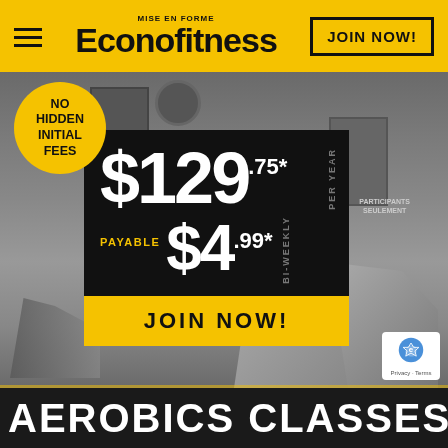MISE EN FORME Econofitness
JOIN NOW!
[Figure (photo): Gym interior with exercise equipment, treadmills, and doors visible in the background]
NO HIDDEN INITIAL FEES
$129.75* per year
PAYABLE $4.99* BI-WEEKLY
JOIN NOW!
AEROBICS CLASSES IN